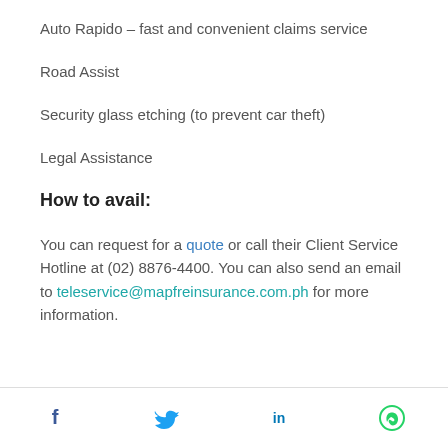Auto Rapido – fast and convenient claims service
Road Assist
Security glass etching (to prevent car theft)
Legal Assistance
How to avail:
You can request for a quote or call their Client Service Hotline at (02) 8876-4400. You can also send an email to teleservice@mapfreinsurance.com.ph for more information.
Social media icons: Facebook, Twitter, LinkedIn, WhatsApp